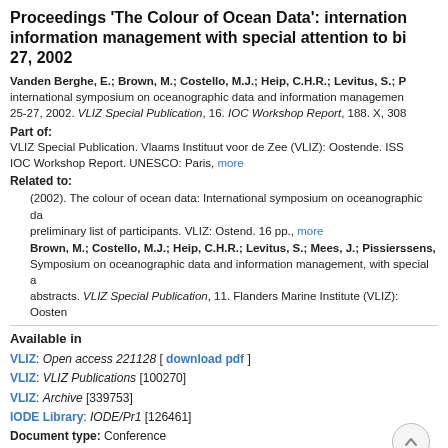Proceedings 'The Colour of Ocean Data': international information management with special attention to bi 27, 2002
Vanden Berghe, E.; Brown, M.; Costello, M.J.; Heip, C.H.R.; Levitus, S.; P international symposium on oceanographic data and information management 25-27, 2002. VLIZ Special Publication, 16. IOC Workshop Report, 188. X, 308
Part of:
VLIZ Special Publication. Vlaams Instituut voor de Zee (VLIZ): Oostende. ISS IOC Workshop Report. UNESCO: Paris, more
Related to:
(2002). The colour of ocean data: International symposium on oceanographic da preliminary list of participants. VLIZ: Ostend. 16 pp., more
Brown, M.; Costello, M.J.; Heip, C.H.R.; Levitus, S.; Mees, J.; Pissierssens, Symposium on oceanographic data and information management, with special a abstracts. VLIZ Special Publication, 11. Flanders Marine Institute (VLIZ): Oosten
Available in
VLIZ: Open access 221128 [ download pdf ]
VLIZ: VLIZ Publications [100270]
VLIZ: Archive [339753]
IODE Library: IODE/Pr1 [126461]
Document type: Conference
Keywords
Data > Oceanographic data
Information systems